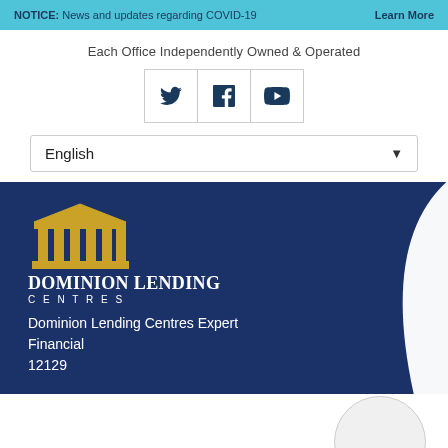NOTICE: News and updates regarding COVID-19    Learn More
Each Office Independently Owned & Operated
[Figure (infographic): Social media icons: Twitter, Facebook, YouTube in a bordered row]
English (language selector dropdown)
[Figure (logo): Dominion Lending Centres logo with pillared building icon on dark blue background, text: Dominion Lending Centres Expert Financial 12129]
[Figure (photo): Circular avatar placeholder bottom right]